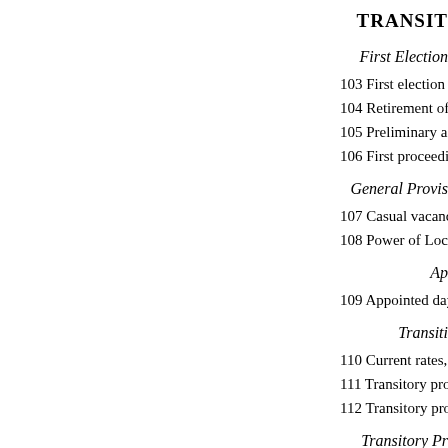TRANSIT
First Election
103 First election of county co
104 Retirement of first county
105 Preliminary action of coun
106 First proceedings of provi
General Provis
107 Casual vacancies at first e
108 Power of Local Governme
Ap
109 Appointed day
Transiti
110 Current rates, jury lists etc
111 Transitory provisions as to
112 Transitory provisions as to
Transitory Pr